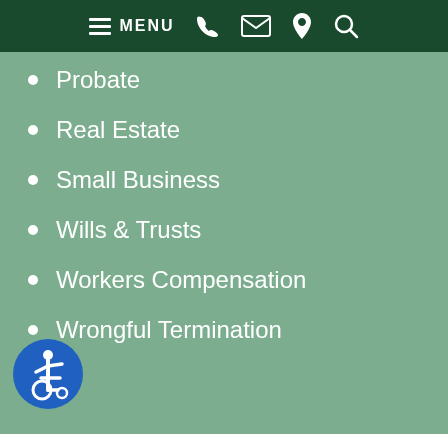MENU (navigation bar with phone, email, location, search icons)
Probate
Real Estate
Small Business
Wills & Trusts
Workers Compensation
Wrongful Termination
[Figure (illustration): Accessibility (wheelchair) icon — blue circle with white wheelchair user symbol]